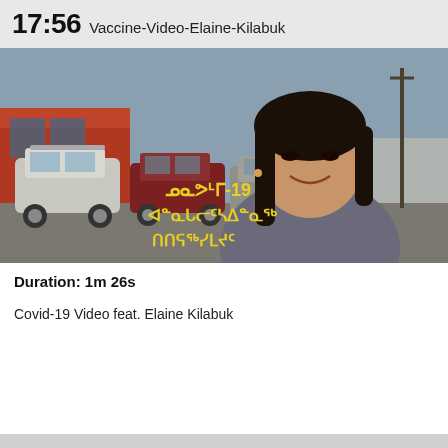17:56 Vaccine-Video-Elaine-Kilabuk
[Figure (photo): Video thumbnail showing a woman smiling outdoors with parked cars and buildings in the background. Inuktitut syllabics text overlay in yellow reading about Covid-19 vaccine.]
Duration: 1m 26s
Covid-19 Video feat. Elaine Kilabuk